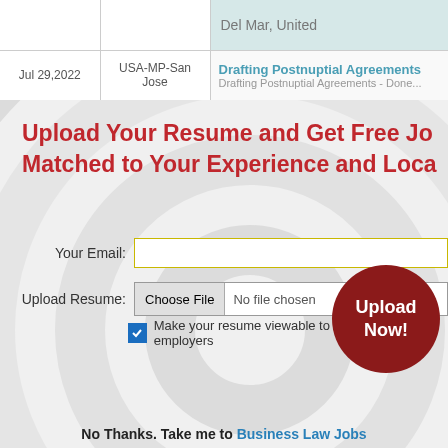| Date | Location | Job |
| --- | --- | --- |
|  |  | Del Mar, United |
| Jul 29,2022 | USA-MP-San Jose | Drafting Postnuptial Agreements / Drafting Postnuptial Agreements - Done... |
Upload Your Resume and Get Free Jobs Matched to Your Experience and Loca...
Your Email:
Upload Resume: Choose File No file chosen
Make your resume viewable to thousands of employers
Upload Now!
No Thanks. Take me to Business Law Jobs